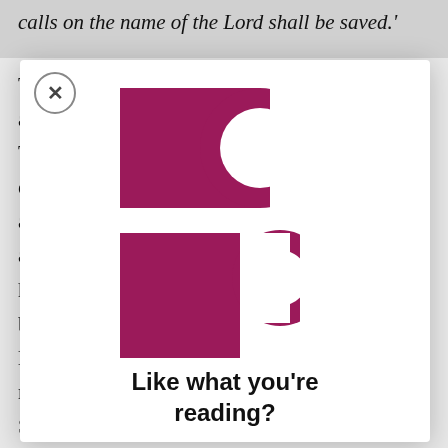calls on the name of the Lord shall be saved.'
The ... at aga ... y. Thr ... ul ech ... arti ... asc ... rs hav ... bet ... a lead ... d, rec ... Sin ... g
[Figure (logo): Patheos logo mark in dark magenta/maroon color, consisting of stylized P shape made of geometric forms]
Like what you're reading?